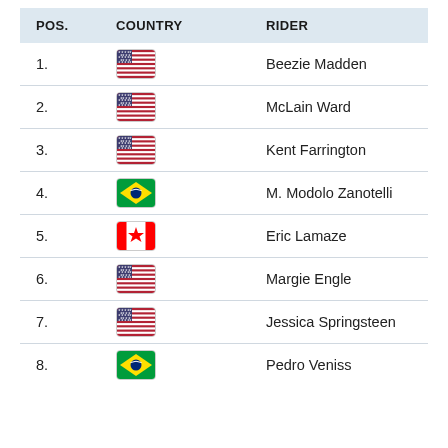| POS. | COUNTRY | RIDER |
| --- | --- | --- |
| 1. | USA | Beezie Madden |
| 2. | USA | McLain Ward |
| 3. | USA | Kent Farrington |
| 4. | BRA | M. Modolo Zanotelli |
| 5. | CAN | Eric Lamaze |
| 6. | USA | Margie Engle |
| 7. | USA | Jessica Springsteen |
| 8. | BRA | Pedro Veniss |